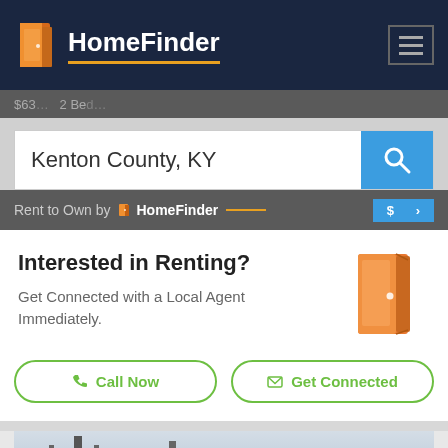HomeFinder
Kenton County, KY
Rent to Own by HomeFinder
Interested in Renting?
Get Connected with a Local Agent Immediately.
Call Now
Get Connected
[Figure (photo): Exterior photo of residential houses with utility poles and power lines in foreground, light blue-gray sky]